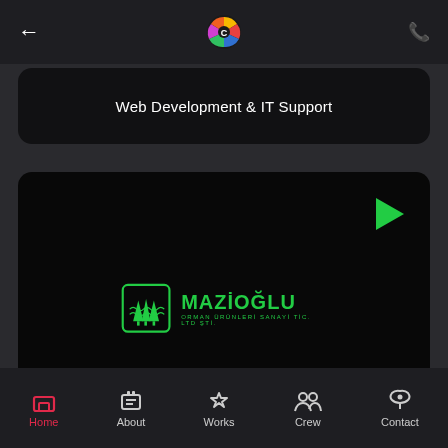[Figure (screenshot): Mobile app top navigation bar with back arrow, colorful logo icon, and phone icon]
Web Development & IT Support
[Figure (screenshot): Video card with Mazioğlu Orman Ürünleri Sanayi Tic. Ltd. Şti. logo, green play button, and text Web Development & IT Support]
Web Development & IT Support
[Figure (screenshot): Partially visible grey card with red pause button]
[Figure (screenshot): Bottom navigation bar with Home (active/red), About, Works, Crew, Contact]